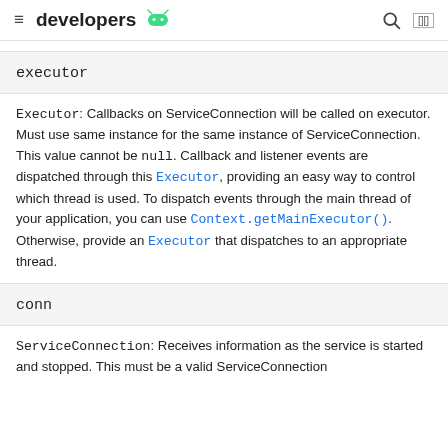≡ developers 🤖 🔍 ⬛
executor
Executor: Callbacks on ServiceConnection will be called on executor. Must use same instance for the same instance of ServiceConnection. This value cannot be null. Callback and listener events are dispatched through this Executor, providing an easy way to control which thread is used. To dispatch events through the main thread of your application, you can use Context.getMainExecutor(). Otherwise, provide an Executor that dispatches to an appropriate thread.
conn
ServiceConnection: Receives information as the service is started and stopped. This must be a valid ServiceConnection